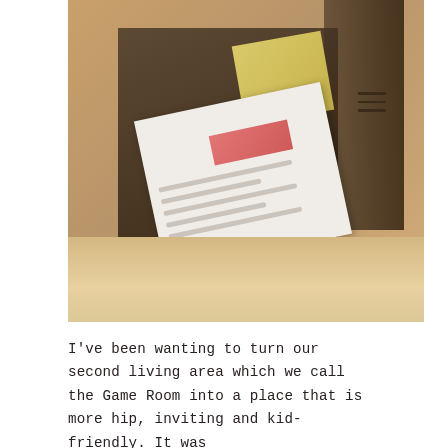[Figure (photo): A blurry photograph of an open cardboard shipping box containing what appears to be books or dark items, with a white shipping label/card visible inside and a yellow envelope or paper in the background. A hamburger menu icon (three horizontal lines) is visible in the upper right area of the image.]
I've been wanting to turn our second living area which we call the Game Room into a place that is more hip, inviting and kid-friendly. It was